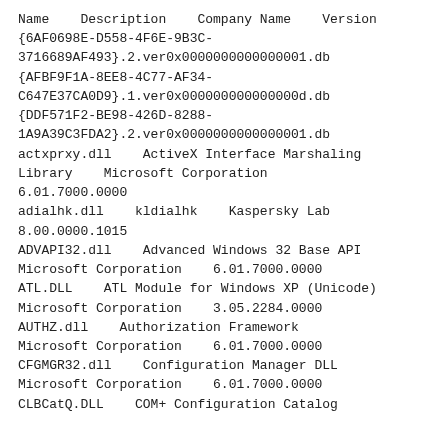| Name | Description | Company Name | Version |
| --- | --- | --- | --- |
| {6AF0698E-D558-4F6E-9B3C-3716689AF493}.2.ver0x0000000000000001.db |  |  |  |
| {AFBF9F1A-8EE8-4C77-AF34-C647E37CA0D9}.1.ver0x000000000000000d.db |  |  |  |
| {DDF571F2-BE98-426D-8288-1A9A39C3FDA2}.2.ver0x0000000000000001.db |  |  |  |
| actxprxy.dll | ActiveX Interface Marshaling Library | Microsoft Corporation | 6.01.7000.0000 |
| adialhk.dll | kldialhk | Kaspersky Lab | 8.00.0000.1015 |
| ADVAPI32.dll | Advanced Windows 32 Base API | Microsoft Corporation | 6.01.7000.0000 |
| ATL.DLL | ATL Module for Windows XP (Unicode) | Microsoft Corporation | 3.05.2284.0000 |
| AUTHZ.dll | Authorization Framework | Microsoft Corporation | 6.01.7000.0000 |
| CFGMGR32.dll | Configuration Manager DLL | Microsoft Corporation | 6.01.7000.0000 |
| CLBCatQ.DLL | COM+ Configuration Catalog |  |  |